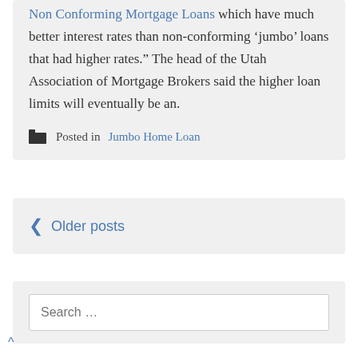Non Conforming Mortgage Loans which have much better interest rates than non-conforming ‘jumbo’ loans that had higher rates.” The head of the Utah Association of Mortgage Brokers said the higher loan limits will eventually be an.
Posted in Jumbo Home Loan
< Older posts
Search …
^